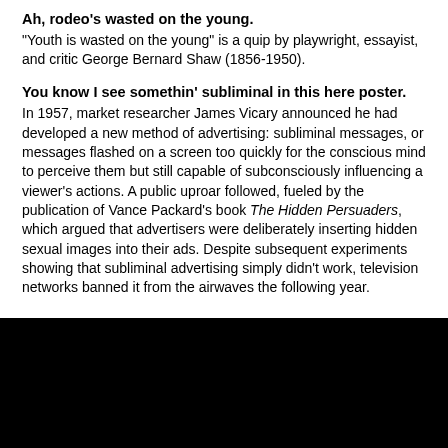Ah, rodeo's wasted on the young. "Youth is wasted on the young" is a quip by playwright, essayist, and critic George Bernard Shaw (1856-1950).
You know I see somethin' subliminal in this here poster. In 1957, market researcher James Vicary announced he had developed a new method of advertising: subliminal messages, or messages flashed on a screen too quickly for the conscious mind to perceive them but still capable of subconsciously influencing a viewer's actions. A public uproar followed, fueled by the publication of Vance Packard's book The Hidden Persuaders, which argued that advertisers were deliberately inserting hidden sexual images into their ads. Despite subsequent experiments showing that subliminal advertising simply didn't work, television networks banned it from the airwaves the following year.
'There's Hank Town's Ango...it'll slick...the rodeo...y...H...'
[Figure (illustration): Silhouette of audience heads (black) at bottom of page, partially obscuring text below]